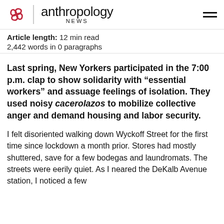anthropology NEWS
Article length: 12 min read
2,442 words in 0 paragraphs
Last spring, New Yorkers participated in the 7:00 p.m. clap to show solidarity with “essential workers” and assuage feelings of isolation. They used noisy cacerolazos to mobilize collective anger and demand housing and labor security.
I felt disoriented walking down Wyckoff Street for the first time since lockdown a month prior. Stores had mostly shuttered, save for a few bodegas and laundromats. The streets were eerily quiet. As I neared the DeKalb Avenue station, I noticed a few